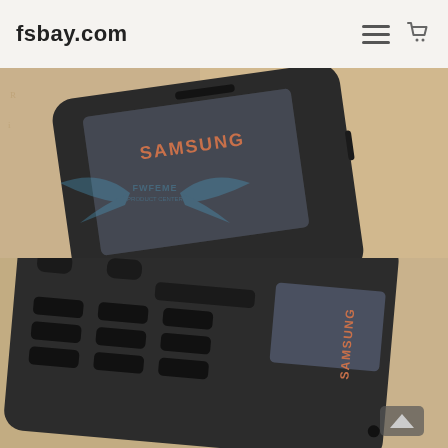fsbay.com
[Figure (photo): Samsung flip/candybar phone top view on vintage map background, showing SAMSUNG branding on front face and screen, with watermark wings logo overlay]
[Figure (photo): Samsung flip phone bottom/keypad view on vintage map background, showing keypad buttons and SAMSUNG branding on the lower half of the device]